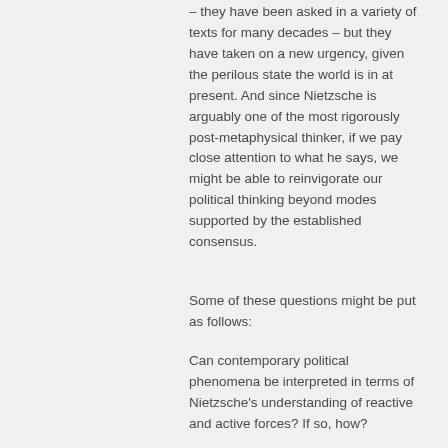– they have been asked in a variety of texts for many decades – but they have taken on a new urgency, given the perilous state the world is in at present. And since Nietzsche is arguably one of the most rigorously post-metaphysical thinker, if we pay close attention to what he says, we might be able to reinvigorate our political thinking beyond modes supported by the established consensus.
Some of these questions might be put as follows:
Can contemporary political phenomena be interpreted in terms of Nietzsche's understanding of reactive and active forces? If so, how?
What is the role of slave morality in the constitution and operations of recent political movements and trends? Are there any pockets